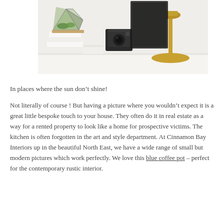[Figure (photo): A styled desk scene with a geometric glass terrarium holding succulents, a vintage black camera, white books/boxes, and a gold lamp on a white surface against a light background.]
In places where the sun don't shine!
Not literally of course ! But having a picture where you wouldn't expect it is a great little bespoke touch to your house. They often do it in real estate as a way for a rented property to look like a home for prospective victims. The kitchen is often forgotten in the art and style department. At Cinnamon Bay Interiors up in the beautiful North East, we have a wide range of small but modern pictures which work perfectly. We love this blue coffee pot – perfect for the contemporary rustic interior.